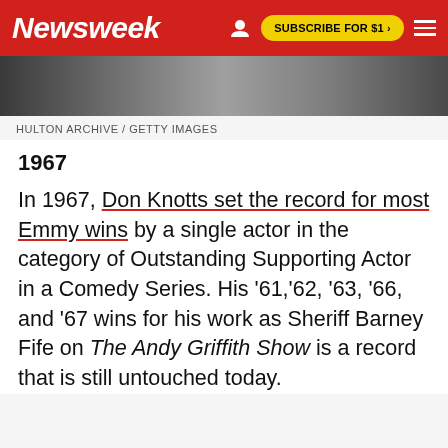Newsweek — SUBSCRIBE FOR $1 >
[Figure (photo): Black and white photo strip showing a person, partially visible]
HULTON ARCHIVE / GETTY IMAGES
1967
In 1967, Don Knotts set the record for most Emmy wins by a single actor in the category of Outstanding Supporting Actor in a Comedy Series. His '61,'62, '63, '66, and '67 wins for his work as Sheriff Barney Fife on The Andy Griffith Show is a record that is still untouched today.